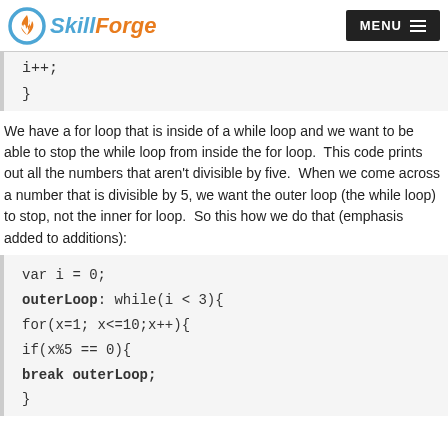SkillForge | MENU
i++;
}
We have a for loop that is inside of a while loop and we want to be able to stop the while loop from inside the for loop. This code prints out all the numbers that aren't divisible by five. When we come across a number that is divisible by 5, we want the outer loop (the while loop) to stop, not the inner for loop. So this how we do that (emphasis added to additions):
var i = 0;
outerLoop: while(i < 3){
for(x=1; x<=10;x++){
if(x%5 == 0){
break outerLoop;
}